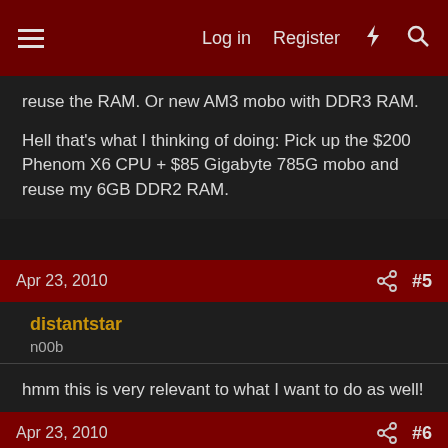Log in  Register  [lightning]  [search]
reuse the RAM. Or new AM3 mobo with DDR3 RAM.

Hell that's what I thinking of doing: Pick up the $200 Phenom X6 CPU + $85 Gigabyte 785G mobo and reuse my 6GB DDR2 RAM.
Apr 23, 2010  #5
distantstar
n00b
hmm this is very relevant to what I want to do as well!

are those AM2+ platforms good though?
Apr 23, 2010  #6
Danqman